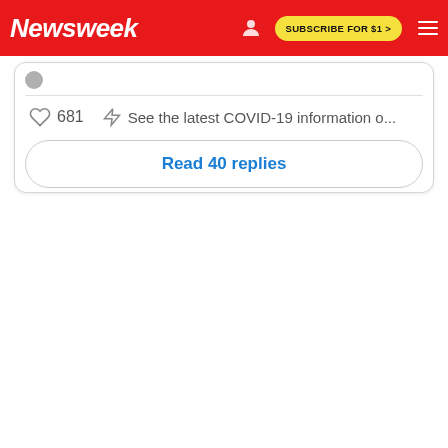Newsweek — SUBSCRIBE FOR $1 >
681   See the latest COVID-19 information o...
Read 40 replies